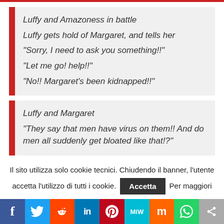Luffy and Amazoness in battle
Luffy gets hold of Margaret, and tells her
"Sorry, I need to ask you something!!"
"Let me go! help!!"
"No!! Margaret's been kidnapped!!"
Luffy and Margaret
"They say that men have virus on them!! And do men all suddenly get bloated like that!?"
Il sito utilizza solo cookie tecnici. Chiudendo il banner, l'utente accetta l'utilizzo di tutti i cookie. Per maggiori
f | Twitter | Reddit | in | Pinterest | MiW | Mix | WhatsApp | Share